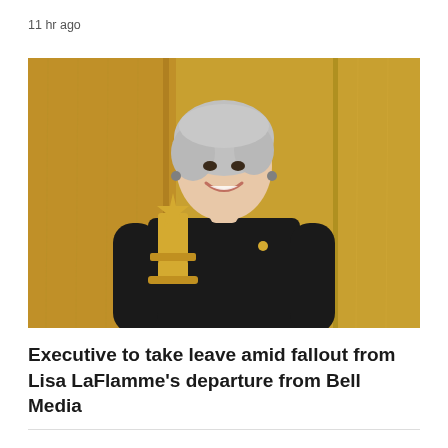11 hr ago
[Figure (photo): A woman with short gray hair wearing a black top, smiling and holding a gold award trophy, standing in front of a yellow wooden panel background.]
Executive to take leave amid fallout from Lisa LaFlamme's departure from Bell Media